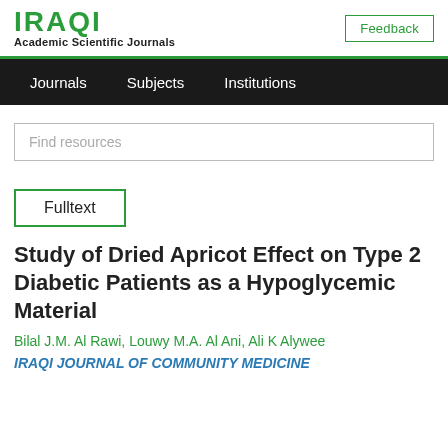IRAQI Academic Scientific Journals
Feedback
Journals  Subjects  Institutions
Find resources
Fulltext
Study of Dried Apricot Effect on Type 2 Diabetic Patients as a Hypoglycemic Material
Bilal J.M. Al Rawi, Louwy M.A. Al Ani, Ali K Alywee
IRAQI JOURNAL OF COMMUNITY MEDICINE